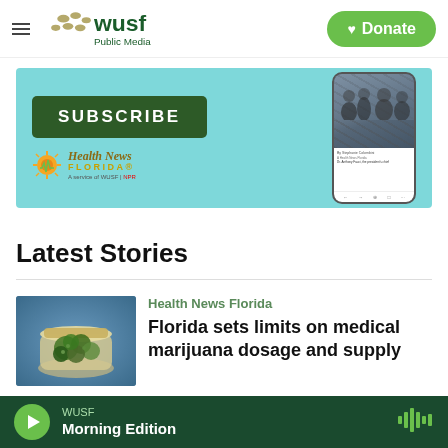WUSF Public Media — Donate
[Figure (screenshot): Health News Florida subscribe banner advertisement with teal background, Subscribe button in dark green, Health News Florida logo, and a phone mockup showing a crowd photo article]
Latest Stories
[Figure (photo): Close-up photo of marijuana buds in a glass jar on a blue surface]
Health News Florida
Florida sets limits on medical marijuana dosage and supply
WUSF Morning Edition — audio player bar